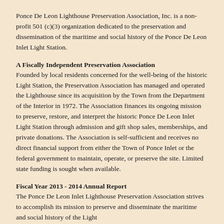Ponce De Leon Lighthouse Preservation Association, Inc. is a non-profit 501 (c)(3) organization dedicated to the preservation and dissemination of the maritime and social history of the Ponce De Leon Inlet Light Station.
A Fiscally Independent Preservation Association
Founded by local residents concerned for the well-being of the historic Light Station, the Preservation Association has managed and operated the Lighthouse since its acquisition by the Town from the Department of the Interior in 1972. The Association finances its ongoing mission to preserve, restore, and interpret the historic Ponce De Leon Inlet Light Station through admission and gift shop sales, memberships, and private donations. The Association is self-sufficient and receives no direct financial support from either the Town of Ponce Inlet or the federal government to maintain, operate, or preserve the site. Limited state funding is sought when available.
Fiscal Year 2013 - 2014 Annual Report
The Ponce De Leon Inlet Lighthouse Preservation Association strives to accomplish its mission to preserve and disseminate the maritime and social history of the Light...